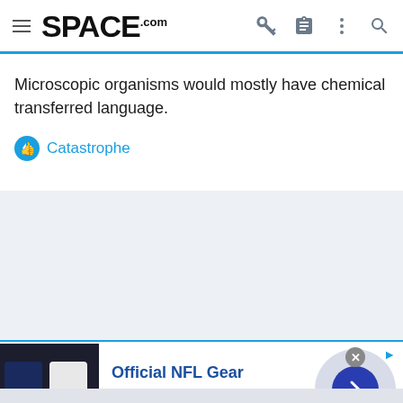SPACE.com
Microscopic organisms would mostly have chemical transferred language.
Catastrophe
[Figure (screenshot): Advertisement for Official NFL Gear showing NFL jerseys, text 'Official NFL Gear', 'Get Your Favorite Team's Gear Here', 'www.nflshop.com']